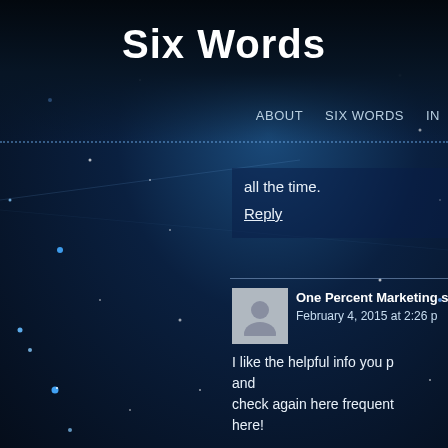Six Words
ABOUT   SIX WORDS   IN
all the time.
Reply
One Percent Marketing s February 4, 2015 at 2:26 p
I like the helpful info you p and check again here frequent here!